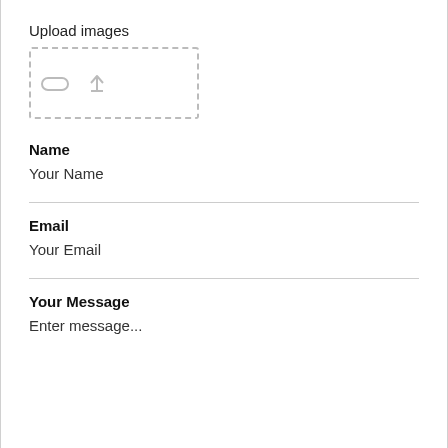Upload images
[Figure (illustration): Dashed border upload area with a small rounded rectangle icon and an upload arrow icon]
Name
Your Name
Email
Your Email
Your Message
Enter message...